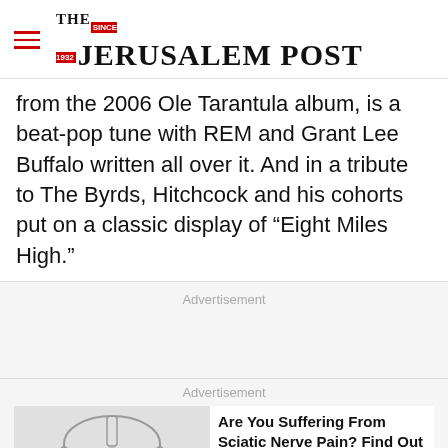THE JERUSALEM POST
from the 2006 Ole Tarantula album, is a beat-pop tune with REM and Grant Lee Buffalo written all over it. And in a tribute to The Byrds, Hitchcock and his cohorts put on a classic display of “Eight Miles High.”
Advertisement
Advertisement
[Figure (illustration): Skeletal illustration of human pelvis and hip area with red highlighted regions indicating sciatic nerve pain areas]
Are You Suffering From Sciatic Nerve Pain? Find Out Why - Ad